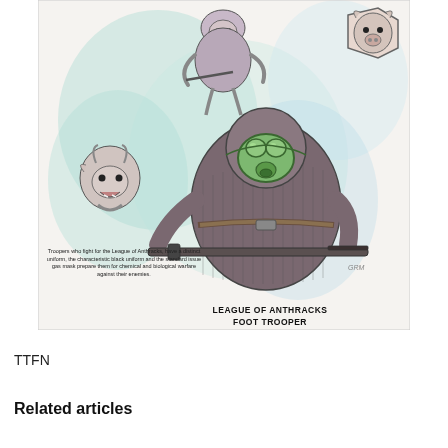[Figure (illustration): Fantasy/sci-fi illustration showing anthropomorphic pig/beast soldiers. Top center: a hunched beast creature with a rifle. Top right: a pig face in a hexagonal frame. Lower left: a goat-like creature with open mouth. Center: a large bulky beast trooper wearing a green gas mask and black uniform, holding a rifle. Background has watercolor blues and greens.]
Troopers who fight for the League of Anthracks, have a distinct uniform, the characteristic black uniform and the standard issue gas mask prepare them for chemical and biological warfare against their enemies.
LEAGUE OF ANTHRACKS
FOOT TROOPER
TTFN
Related articles